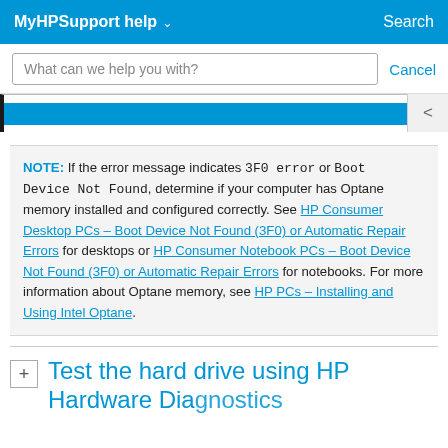MyHPSupport help  Search
What can we help you with?  Cancel
[Figure (screenshot): A horizontal blue scrollbar strip with a dark left border and a right-pointing chevron arrow button on the right side.]
NOTE: If the error message indicates 3F0 error or Boot Device Not Found, determine if your computer has Optane memory installed and configured correctly. See HP Consumer Desktop PCs – Boot Device Not Found (3F0) or Automatic Repair Errors for desktops or HP Consumer Notebook PCs – Boot Device Not Found (3F0) or Automatic Repair Errors for notebooks. For more information about Optane memory, see HP PCs – Installing and Using Intel Optane.
Test the hard drive using HP Hardware Diagnostics